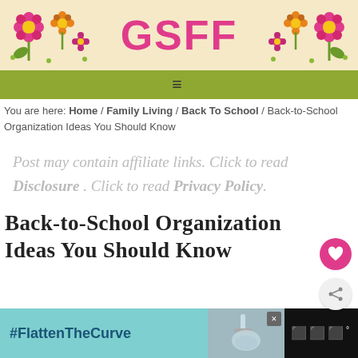[Figure (logo): GSFF website header banner with colorful flower decorations on left and right, pink 'GSFF' text in center on tan/cream background]
≡
You are here: Home / Family Living / Back To School / Back-to-School Organization Ideas You Should Know
Post may contain affiliate links. Click to read Disclosure . Click to read Privacy Policy.
Back-to-School Organization Ideas You Should Know
[Figure (photo): Advertisement banner at bottom: #FlattenTheCurve text on teal background with handwashing photo]